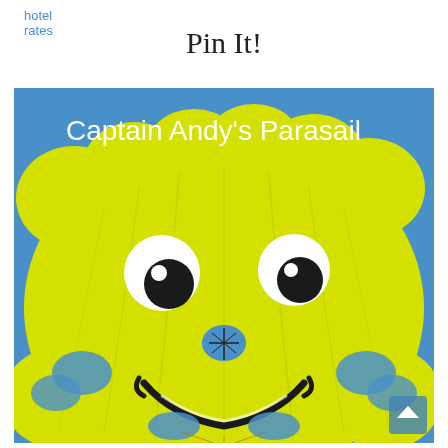hotel rates
Pin It!
[Figure (photo): Yellow smiley-face parasail canopy with black eyes and smile design on a blue sky background, with text 'Captain Andy's Parasail' in white at the top of the image. A small scroll-up button is visible in the bottom-right corner.]